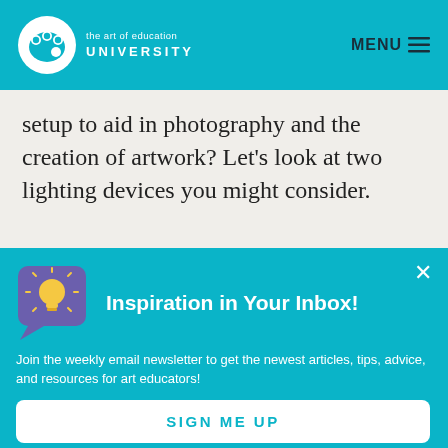the art of education UNIVERSITY | MENU
setup to aid in photography and the creation of artwork? Let's look at two lighting devices you might consider.
Inspiration in Your Inbox!
Join the weekly email newsletter to get the newest articles, tips, advice, and resources for art educators!
SIGN ME UP